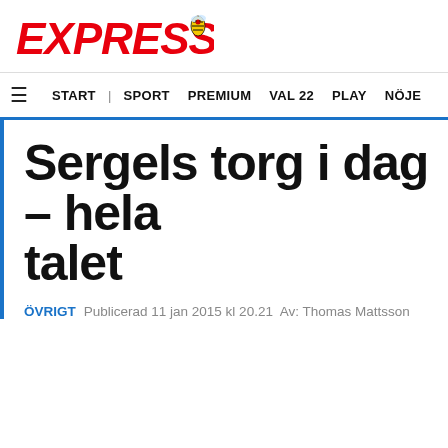[Figure (logo): Expressen newspaper logo in red italic bold text with a small bee/wasp graphic]
≡  START | SPORT  PREMIUM  VAL 22  PLAY  NÖJE
Sergels torg i dag – hela talet
ÖVRIGT  Publicerad 11 jan 2015 kl 20.21  Av: Thomas Mattsson